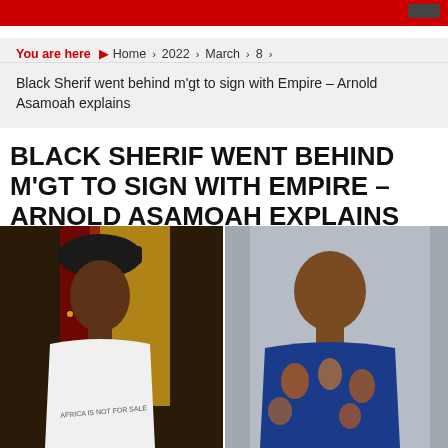You are here  ▶  Home  ›  2022  ›  March  ›  8  ›
Black Sherif went behind m'gt to sign with Empire – Arnold Asamoah explains
BLACK SHERIF WENT BEHIND M'GT TO SIGN WITH EMPIRE – ARNOLD ASAMOAH EXPLAINS
[Figure (photo): Two men side by side: on the left, a young man wearing a black hat and a white t-shirt reading 'AFRICA IS NOT FOR SALE', against a colorful background; on the right, an older man wearing a blue and orange floral shirt, against a grey background.]